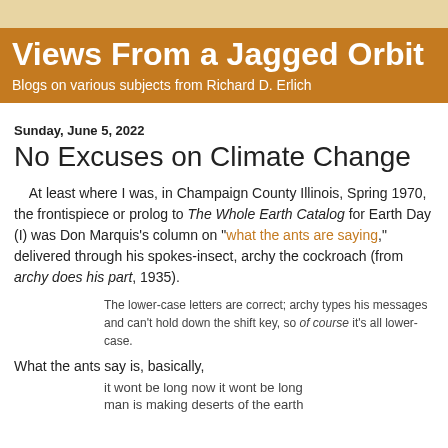Views From a Jagged Orbit
Blogs on various subjects from Richard D. Erlich
Sunday, June 5, 2022
No Excuses on Climate Change
At least where I was, in Champaign County Illinois, Spring 1970, the frontispiece or prolog to The Whole Earth Catalog for Earth Day (I) was Don Marquis's column on "what the ants are saying," delivered through his spokes-insect, archy the cockroach (from archy does his part, 1935).
The lower-case letters are correct; archy types his messages and can't hold down the shift key, so of course it's all lower-case.
What the ants say is, basically,
it wont be long now it wont be long
man is making deserts of the earth